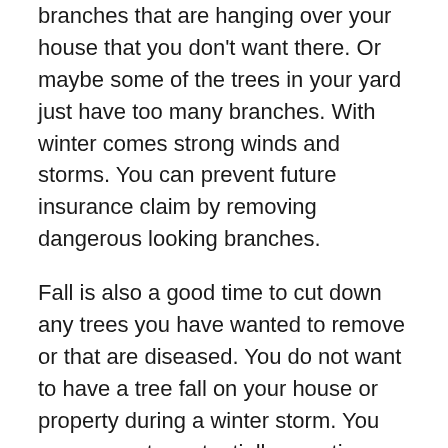branches that are hanging over your house that you don't want there. Or maybe some of the trees in your yard just have too many branches. With winter comes strong winds and storms. You can prevent future insurance claim by removing dangerous looking branches.
Fall is also a good time to cut down any trees you have wanted to remove or that are diseased. You do not want to have a tree fall on your house or property during a winter storm. You can prevent a potentially negative situation by removing the tree now.
Make sure you schedule a Tree Cutting Denver CO company to come out and prune your trees this fall. While they are pruning your trees, you can also have them cut down any concerning branches and take